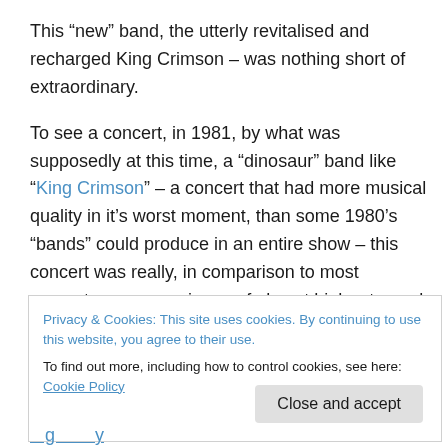This “new” band, the utterly revitalised and recharged King Crimson – was nothing short of extraordinary.
To see a concert, in 1981, by what was supposedly at this time, a “dinosaur” band like “King Crimson” – a concert that had more musical quality in it’s worst moment, than some 1980’s “bands” could produce in an entire show – this concert was really, in comparison to most concerts – an experience of almost high art – rock music, progressive, intelligent music – elevated to a new plane of existence, with the interlocking musical gamelan of the
Privacy & Cookies: This site uses cookies. By continuing to use this website, you agree to their use.
To find out more, including how to control cookies, see here: Cookie Policy
Close and accept